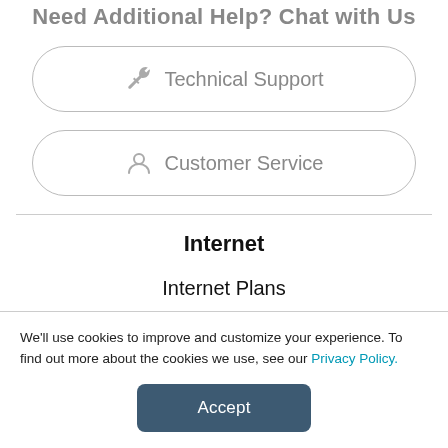Need Additional Help? Chat with Us
Technical Support
Customer Service
Internet
Internet Plans
Wi-Fi Solutions
We'll use cookies to improve and customize your experience. To find out more about the cookies we use, see our Privacy Policy.
Accept